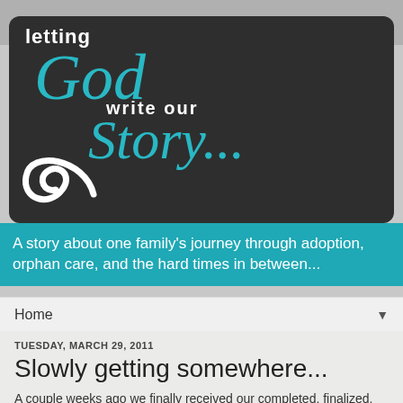[Figure (logo): Blog header logo reading 'letting God write our Story...' in white and teal script on a dark charcoal rounded rectangle background with a decorative swirl]
A story about one family's journey through adoption, orphan care, and the hard times in between...
Home ▼
TUESDAY, MARCH 29, 2011
Slowly getting somewhere...
A couple weeks ago we finally received our completed, finalized, and notarized home study, via Fedex! I tried really